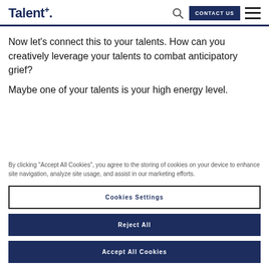Talent+.
Now let’s connect this to your talents. How can you creatively leverage your talents to combat anticipatory grief?
Maybe one of your talents is your high energy level.
By clicking “Accept All Cookies”, you agree to the storing of cookies on your device to enhance site navigation, analyze site usage, and assist in our marketing efforts.
Cookies Settings
Reject All
Accept All Cookies